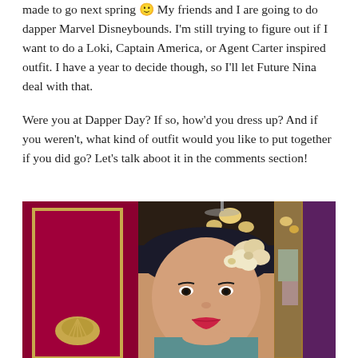made to go next spring 🙂 My friends and I are going to do dapper Marvel Disneybounds. I'm still trying to figure out if I want to do a Loki, Captain America, or Agent Carter inspired outfit. I have a year to decide though, so I'll let Future Nina deal with that.
Were you at Dapper Day? If so, how'd you dress up? And if you weren't, what kind of outfit would you like to put together if you did go? Let's talk aboot it in the comments section!
[Figure (photo): A young woman with dark hair and a large cream/gold flower hair accessory, wearing red lipstick, posed in front of a red/crimson decorative wall panel with gold trim and a gold ornamental shell motif. A chandelier with warm lights is visible in the background upper right, along with a mirror reflection showing a store/shop interior.]